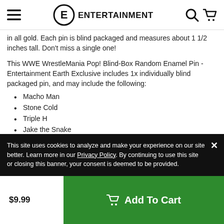Entertainment Earth navigation bar with menu, logo, search, and cart icons
in all gold. Each pin is blind packaged and measures about 1 1/2 inches tall. Don't miss a single one!
This WWE WrestleMania Pop! Blind-Box Random Enamel Pin - Entertainment Earth Exclusive includes 1x individually blind packaged pin, and may include the following:
Macho Man
Stone Cold
Triple H
Jake the Snake
Undertaker
The Rock
This site uses cookies to analyze and make your experience on our site better. Learn more in our Privacy Policy. By continuing to use this site or closing this banner, your consent is deemed to be provided.
$9.99  Add To Cart